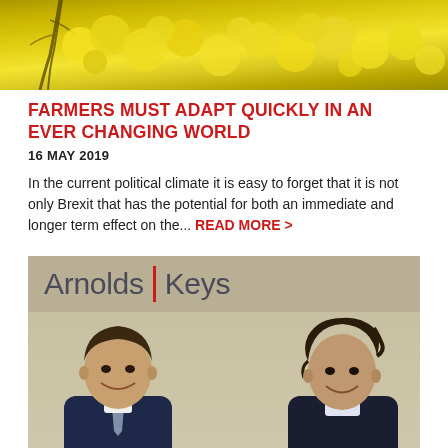[Figure (photo): Yellow flowering crop field (rapeseed/canola) with branches visible, top banner image]
FARMERS MUST ADAPT QUICKLY IN AN EVER CHANGING WORLD
16 MAY 2019
In the current political climate it is easy to forget that it is not only Brexit that has the potential for both an immediate and longer term effect on the... READ MORE >
[Figure (photo): Two men in suits smiling in front of Arnolds Keys branded signage/banner]